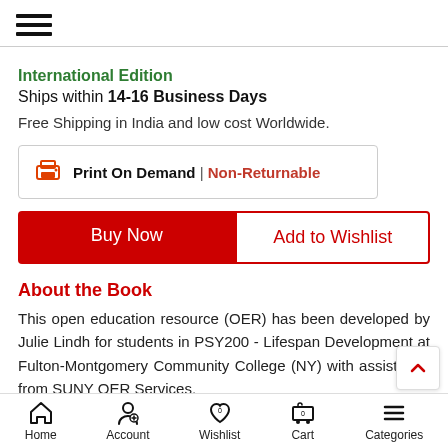International Edition
Ships within 14-16 Business Days
Free Shipping in India and low cost Worldwide.
Print On Demand | Non-Returnable
Buy Now
Add to Wishlist
About the Book
This open education resource (OER) has been developed by Julie Lindh for students in PSY200 - Lifespan Development at Fulton-Montgomery Community College (NY) with assistance from SUNY OER Services.
Home  Account  Wishlist 0  Cart 0  Categories